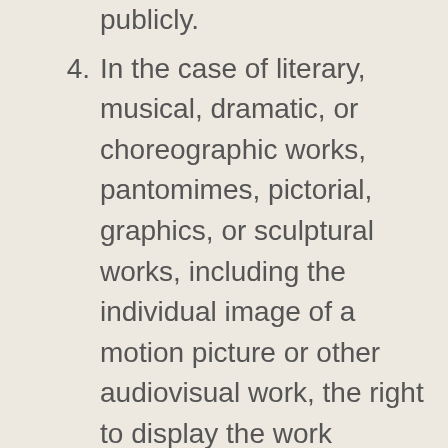publicly.
4. In the case of literary, musical, dramatic, or choreographic works, pantomimes, pictorial, graphics, or sculptural works, including the individual image of a motion picture or other audiovisual work, the right to display the work publicly.
5. In sound recordings, the right to perform the work utilizing a digital audio...